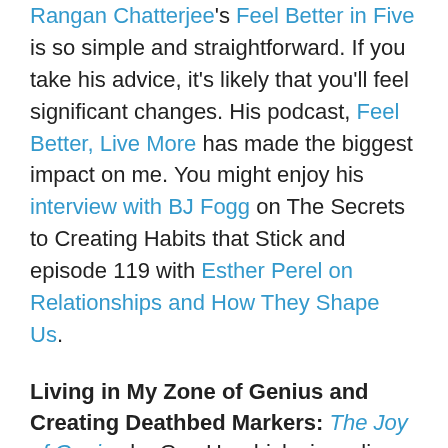Rangan Chatterjee's Feel Better in Five is so simple and straightforward. If you take his advice, it's likely that you'll feel significant changes. His podcast, Feel Better, Live More has made the biggest impact on me. You might enjoy his interview with BJ Fogg on The Secrets to Creating Habits that Stick and episode 119 with Esther Perel on Relationships and How They Shape Us.
Living in My Zone of Genius and Creating Deathbed Markers:
The Joy of Genius by Gay Hendricks is a slim little book that is the follow up to The Big Leap (which is available everywhere including on the free Hoopla library app). This book has helped me to reframe some of the most mundane and frustrating aspects of my life to uncover my best skills AND to spend more time doing what I love! One of the culminating exercises includes creating a list of deathbed markers–as in when I die, this